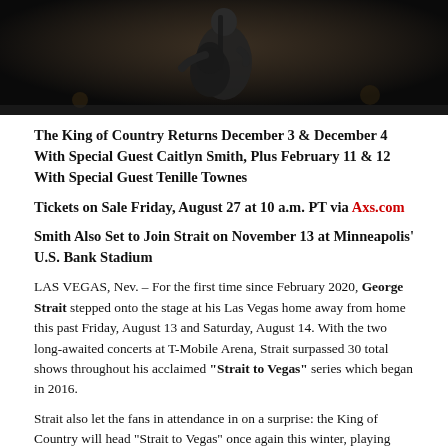[Figure (photo): A performer (George Strait) on stage holding an acoustic guitar, photographed from below against a dark concert background]
The King of Country Returns December 3 & December 4 With Special Guest Caitlyn Smith, Plus February 11 & 12 With Special Guest Tenille Townes
Tickets on Sale Friday, August 27 at 10 a.m. PT via Axs.com
Smith Also Set to Join Strait on November 13 at Minneapolis' U.S. Bank Stadium
LAS VEGAS, Nev. – For the first time since February 2020, George Strait stepped onto the stage at his Las Vegas home away from home this past Friday, August 13 and Saturday, August 14. With the two long-awaited concerts at T-Mobile Arena, Strait surpassed 30 total shows throughout his acclaimed "Strait to Vegas" series which began in 2016.
Strait also let the fans in attendance in on a surprise: the King of Country will head "Strait to Vegas" once again this winter, playing